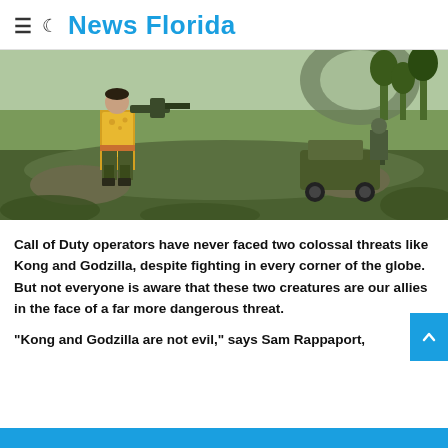≡ ☾ News Florida
[Figure (screenshot): Screenshot from a Call of Duty video game showing a soldier in a yellow floral shirt running with a weapon in a jungle/jungle environment, with a military jeep in the background and rocky terrain.]
Call of Duty operators have never faced two colossal threats like Kong and Godzilla, despite fighting in every corner of the globe. But not everyone is aware that these two creatures are our allies in the face of a far more dangerous threat.
"Kong and Godzilla are not evil," says Sam Rappaport,